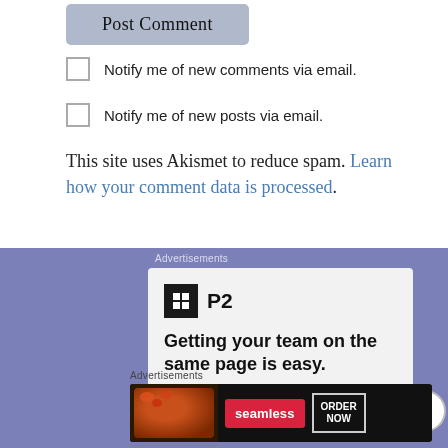[Figure (screenshot): Post Comment button, gray/blue rounded rectangle]
Notify me of new comments via email.
Notify me of new posts via email.
This site uses Akismet to reduce spam. Learn how your comment data is processed.
Advertisements
[Figure (screenshot): P2 advertisement: Getting your team on the same page is easy.]
Advertisements
[Figure (screenshot): Seamless food delivery advertisement with ORDER NOW button]